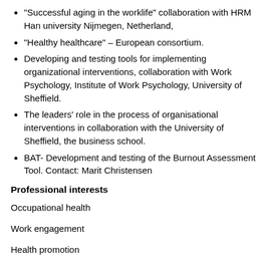"Successful aging in the worklife" collaboration with HRM Han university Nijmegen, Netherland,
"Healthy healthcare" – European consortium.
Developing and testing tools for implementing organizational interventions, collaboration with Work Psychology, Institute of Work Psychology, University of Sheffield.
The leaders' role in the process of organisational interventions in collaboration with the University of Sheffield, the business school.
BAT- Development and testing of the Burnout Assessment Tool. Contact: Marit Christensen
Professional interests
Occupational health
Work engagement
Health promotion